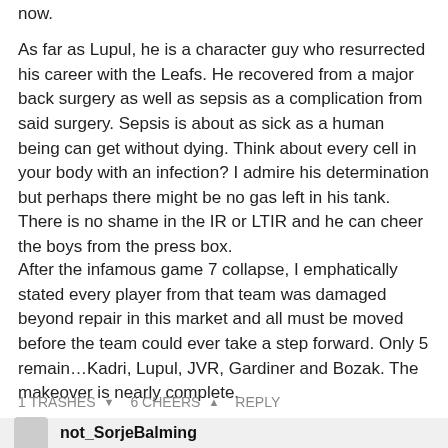now.
As far as Lupul, he is a character guy who resurrected his career with the Leafs. He recovered from a major back surgery as well as sepsis as a complication from said surgery. Sepsis is about as sick as a human being can get without dying. Think about every cell in your body with an infection? I admire his determination but perhaps there might be no gas left in his tank. There is no shame in the IR or LTIR and he can cheer the boys from the press box.
After the infamous game 7 collapse, I emphatically stated every player from that team was damaged beyond repair in this market and all must be moved before the team could ever take a step forward. Only 5 remain…Kadri, Lupul, JVR, Gardiner and Bozak. The makeover is nearly complete.
1 TRASHES  6 CHEERS  REPLY
not_SorjeBalming